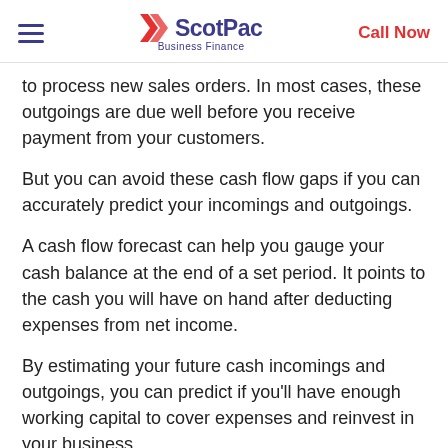ScotPac Business Finance | Call Now
to process new sales orders. In most cases, these outgoings are due well before you receive payment from your customers.
But you can avoid these cash flow gaps if you can accurately predict your incomings and outgoings.
A cash flow forecast can help you gauge your cash balance at the end of a set period. It points to the cash you will have on hand after deducting expenses from net income.
By estimating your future cash incomings and outgoings, you can predict if you'll have enough working capital to cover expenses and reinvest in your business.